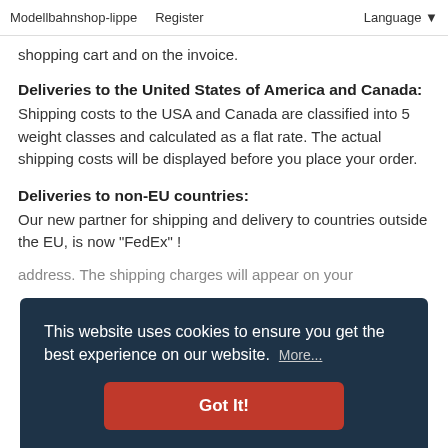Modellbahnshop-lippe   Register   Language
shopping cart and on the invoice.
Deliveries to the United States of America and Canada:
Shipping costs to the USA and Canada are classified into 5 weight classes and calculated as a flat rate. The actual shipping costs will be displayed before you place your order.
Deliveries to non-EU countries:
Our new partner for shipping and delivery to countries outside the EU, is now "FedEx" !
This website uses cookies to ensure you get the best experience on our website.  More...
Got It!
address. The shipping charges will appear on your